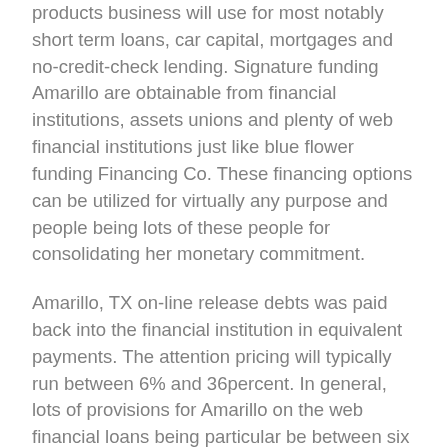products business will use for most notably short term loans, car capital, mortgages and no-credit-check lending. Signature funding Amarillo are obtainable from financial institutions, assets unions and plenty of web financial institutions just like blue flower funding Financing Co. These financing options can be utilized for virtually any purpose and people being lots of these people for consolidating her monetary commitment.
Amarillo, TX on-line release debts was paid back into the financial institution in equivalent payments. The attention pricing will typically run between 6% and 36percent. In general, lots of provisions for Amarillo on the web financial loans being particular be between six months to each year extended. Terminology, rates and also other money properties will change particularly between financial institutions. Just for this, it is very important evaluate unsecured financing selections from different money